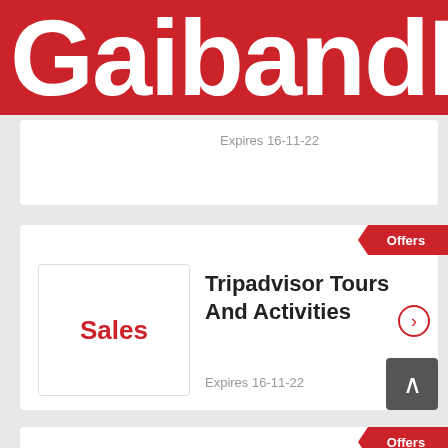[Figure (logo): Gaibandha website logo in white bold text on red background, partially cropped on right]
Expires 16-11-22
[Figure (other): Offers badge ribbon in red]
[Figure (other): Sales label box with red text]
Tripadvisor Tours And Activities
Expires 16-11-22
[Figure (other): Offers badge ribbon in red (partially visible)]
[Figure (other): 30% OFF label box with red text]
Save Up To 30% And Book On Hotels In Nantucket,...
Expires 16-11-22